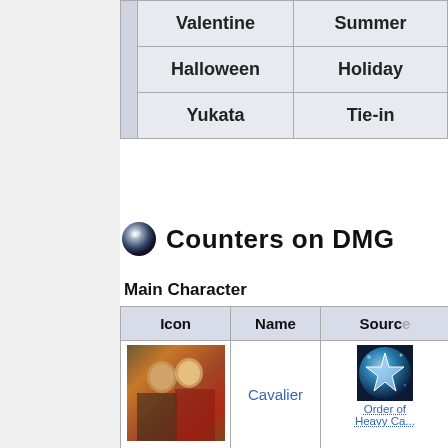|  | Valentine | Summer |
| --- | --- | --- |
|  | Halloween | Holiday |
|  | Yukata | Tie-in |
Counters on DMG
Main Character
| Icon | Name | Source |
| --- | --- | --- |
| [Cavalier portrait image] | Cavalier | [Order of... / Heavy Ca... icon + link] |
| [Doctor portrait image] | Doctor | [Maddening... icon + link] |